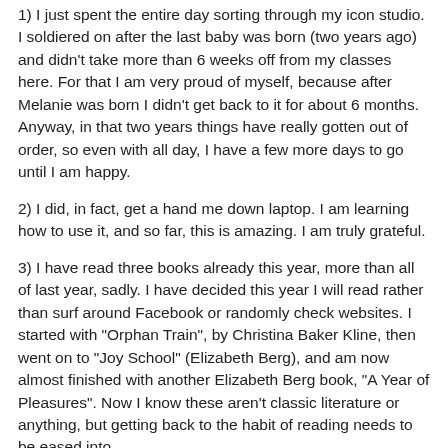1)  I just spent the entire day sorting through my icon studio.  I soldiered on after the last baby was born (two years ago) and didn't take more than 6 weeks off from my classes here.  For that I am very proud of myself, because after Melanie was born I didn't get back to it for about 6 months.  Anyway, in that two years things have really gotten out of order, so even with all day, I have a few more days to go until I am happy.
2) I did, in fact, get a hand me down laptop.  I am learning how to use it, and so far, this is amazing.  I am truly grateful.
3) I have read three books already this year, more than all of last year, sadly.  I have decided this year I will read rather than surf around Facebook or randomly check websites.  I started with "Orphan Train", by Christina Baker Kline, then went on to "Joy School" (Elizabeth Berg), and am now almost finished with another Elizabeth Berg book, "A Year of Pleasures".  Now I know these aren't classic literature or anything, but getting back to the habit of reading needs to be eased into.
4) I have been reading some more fiction...  One called "Stiff"...